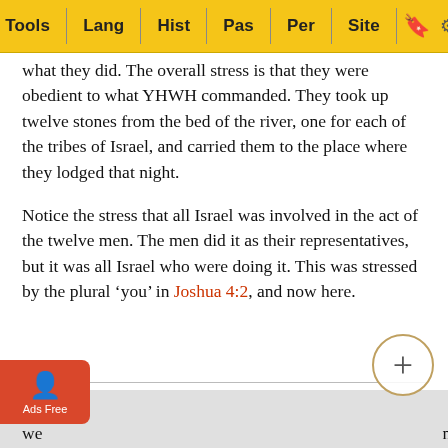Tools | Lang | Hist | Pas | Per | Site
what they did. The overall stress is that they were obedient to what YHWH commanded. They took up twelve stones from the bed of the river, one for each of the tribes of Israel, and carried them to the place where they lodged that night.
Notice the stress that all Israel was involved in the act of the twelve men. The men did it as their representatives, but it was all Israel who were doing it. This was stressed by the plural ‘you’ in Joshua 4:2, and now here.
Verse 9
‘And Joshua set up twelve stones in the midst of Jordan, in the place where the feet of the priests who bore the Ark of the covenant stood, and they are there to this day.’
As we…and, Joshua…the